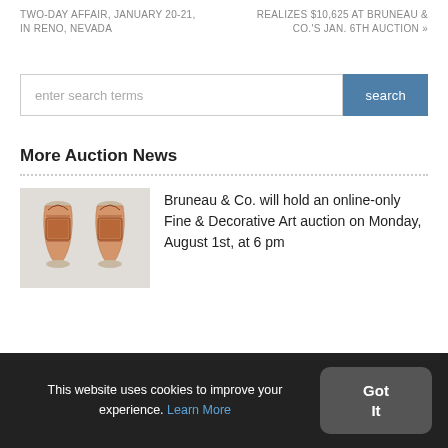TWO-DAY AFFAIR, JANUARY 20-21, IN RENO, NEVADA
REALIZES $10,625 AT BRUNEAU & CO.'S JAN. 6TH AUCTION »
enter search terms
More Auction News
[Figure (photo): Two red and white decorative Chinese vases side by side on a light background]
Bruneau & Co. will hold an online-only Fine & Decorative Art auction on Monday, August 1st, at 6 pm
This website uses cookies to improve your experience. Learn More
Got It